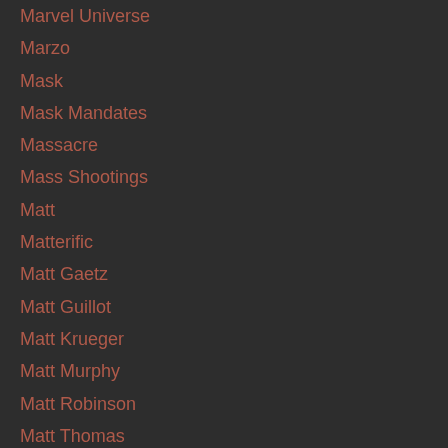Marvel Universe
Marzo
Mask
Mask Mandates
Massacre
Mass Shootings
Matt
Matterific
Matt Gaetz
Matt Guillot
Matt Krueger
Matt Murphy
Matt Robinson
Matt Thomas
Matt Willer
Maxine Waters
May
Mayflower
Mayor
Mcbillions
Mccluer North